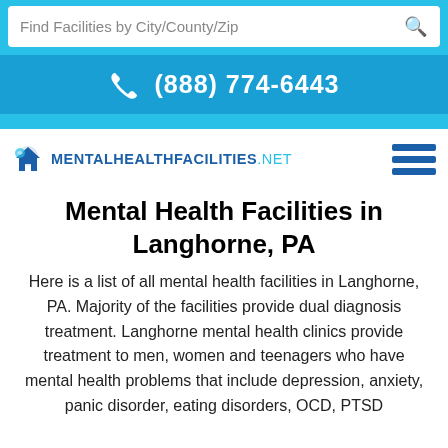Find Facilities by City/County/Zip
(888) 774-6443
[Figure (logo): MentalHealthFacilities.net logo with house icon and hamburger menu icon]
Mental Health Facilities in Langhorne, PA
Here is a list of all mental health facilities in Langhorne, PA. Majority of the facilities provide dual diagnosis treatment. Langhorne mental health clinics provide treatment to men, women and teenagers who have mental health problems that include depression, anxiety, panic disorder, eating disorders, OCD, PTSD